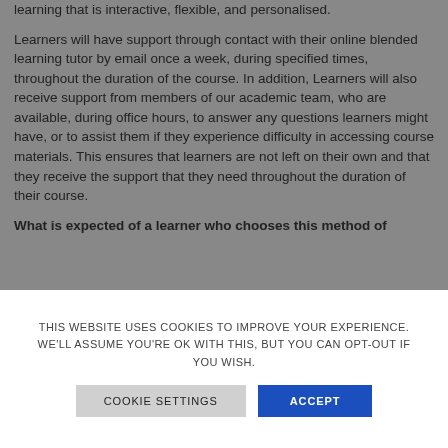learning that is interactive, flexible, and personalised.
Learners will have support through contact with their online blended learning tutor by email once a week, during specified times, throughout the duration of the course. In addition, Learners will also receive support from members of our academic team, who are available, during office hours, to answer any questions learners might have, or to assist them if they experience difficulty in accessing course materials. This ensures that learners are not left on their own and that they receive the support that they need throughout the duration of their course.
What is expected of a learner who chooses this method of
THIS WEBSITE USES COOKIES TO IMPROVE YOUR EXPERIENCE. WE'LL ASSUME YOU'RE OK WITH THIS, BUT YOU CAN OPT-OUT IF YOU WISH.